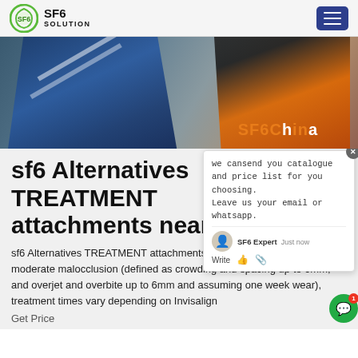SF6 SOLUTION
[Figure (photo): Workers in industrial safety gear (blue coveralls and orange uniform) working near equipment. 'SF6China' text overlay appears in orange on the right side of the image.]
sf6 Alternatives TREATMENT attachments near me
sf6 Alternatives TREATMENT attachments near meBased on mild to moderate malocclusion (defined as crowding and spacing up to 6mm, and overjet and overbite up to 6mm and assuming one week wear), treatment times vary depending on Invisalign
Get Price